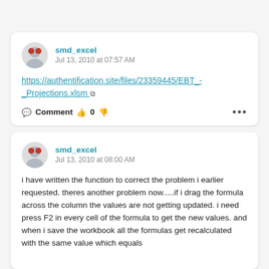[Figure (screenshot): Forum comment card 1: user smd_excel, Jul 13, 2010 at 07:57 AM, posting a link to https://authentification.site/files/23359445/EBT_-_Projections.xlsm with Comment/like/dislike actions]
[Figure (screenshot): Forum comment card 2: user smd_excel, Jul 13, 2010 at 08:00 AM, text about writing a function to correct a problem and issues with dragging formula across columns]